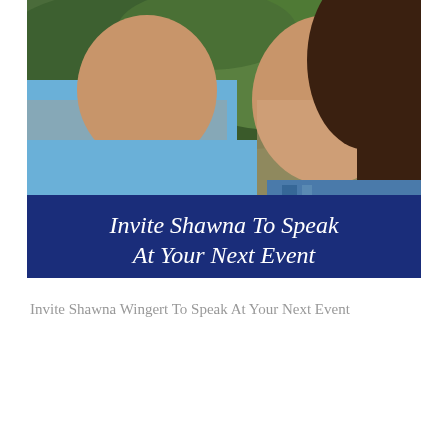[Figure (photo): A photo of two people smiling outdoors with green foliage in the background. A man in a light blue shirt is on the left, and a woman with long dark hair wearing a blue patterned top is on the right. Overlaid on the lower portion of the photo is a dark navy blue banner with white italic text reading 'Invite Shawna To Speak At Your Next Event'.]
Invite Shawna Wingert To Speak At Your Next Event